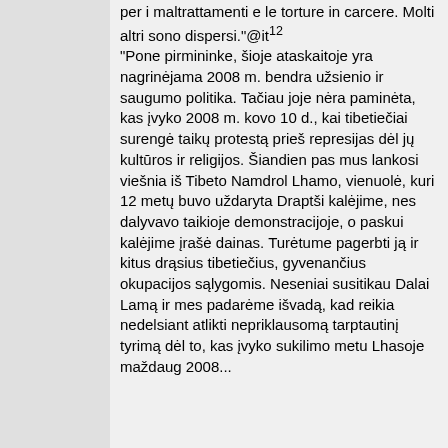per i maltrattamenti e le torture in carcere. Molti altri sono dispersi."@it¹² "Pone pirmininke, šioje ataskaitoje yra nagrinėjama 2008 m. bendra užsienio ir saugumo politika. Tačiau joje nėra paminėta, kas įvyko 2008 m. kovo 10 d., kai tibetiečiai surengė taikų protestą prieš represijas dėl jų kultūros ir religijos. Šiandien pas mus lankosi viešnia iš Tibeto Namdrol Lhamo, vienuolė, kuri 12 metų buvo uždaryta Draptši kalėjime, nes dalyvavo taikioje demonstracijoje, o paskui kalėjime įrašė dainas. Turėtume pagerbti ją ir kitus drąsius tibetiečius, gyvenančius okupacijos sąlygomis. Neseniai susitikau Dalai Lamą ir mes padarėme išvadą, kad reikia nedelsiant atlikti nepriklausomą tarptautinį tyrimą dėl to, kas įvyko sukilimo metu Lhasoje maždaug 2008...